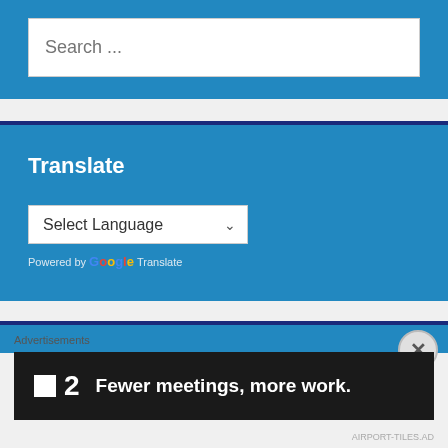[Figure (screenshot): Search box with placeholder text 'Search ...' on a blue background]
Translate
[Figure (screenshot): Google Translate widget with Select Language dropdown on a blue background]
Advertisements
[Figure (screenshot): Advertisement banner: F2 logo with text 'Fewer meetings, more work.']